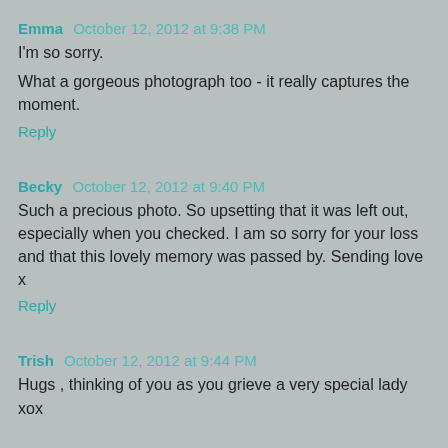Emma  October 12, 2012 at 9:38 PM
I'm so sorry.
What a gorgeous photograph too - it really captures the moment.
Reply
Becky  October 12, 2012 at 9:40 PM
Such a precious photo. So upsetting that it was left out, especially when you checked. I am so sorry for your loss and that this lovely memory was passed by. Sending love x
Reply
Trish  October 12, 2012 at 9:44 PM
Hugs , thinking of you as you grieve a very special lady xox